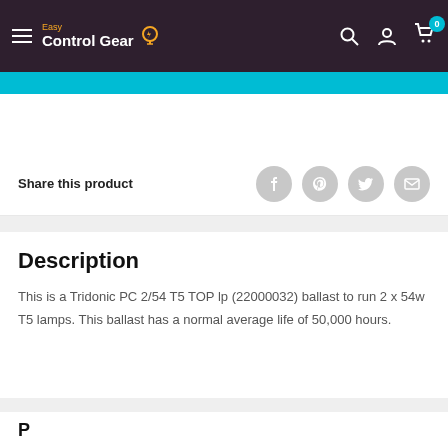Easy Control Gear
[Figure (screenshot): Teal button strip at top of product page]
Share this product
Description
This is a Tridonic PC 2/54 T5 TOP lp (22000032) ballast to run 2 x 54w T5 lamps. This ballast has a normal average life of 50,000 hours.